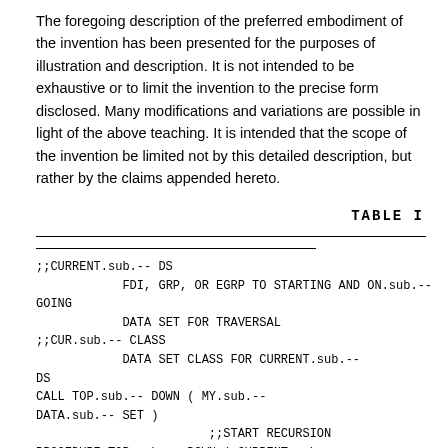The foregoing description of the preferred embodiment of the invention has been presented for the purposes of illustration and description. It is not intended to be exhaustive or to limit the invention to the precise form disclosed. Many modifications and variations are possible in light of the above teaching. It is intended that the scope of the invention be limited not by this detailed description, but rather by the claims appended hereto.
TABLE I
;;CURRENT.sub.-- DS
            FDI, GRP, OR EGRP TO STARTING AND ON.sub.-- GOING
            DATA SET FOR TRAVERSAL
;;CUR.sub.-- CLASS
            DATA SET CLASS FOR CURRENT.sub.-- DS
CALL TOP.sub.-- DOWN ( MY.sub.--
DATA.sub.-- SET )
                        ;;START RECURSION
PROCEDURE TOP.sub.-- DOWN ( CURRENT.sub.--